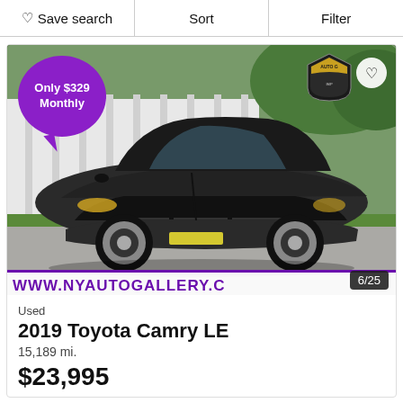Save search   Sort   Filter
[Figure (photo): Photo of a dark gray 2019 Toyota Camry LE parked outdoors, with a purple speech bubble overlay reading 'Only $329 Monthly', a dealer badge (Auto Gallery) in the top right of the image, a heart/favorite button, and a banner at the bottom showing 'WWW.NYAUTOGALLERY.C...' in purple with a photo counter '6/25'.]
Used
2019 Toyota Camry LE
15,189 mi.
$23,995